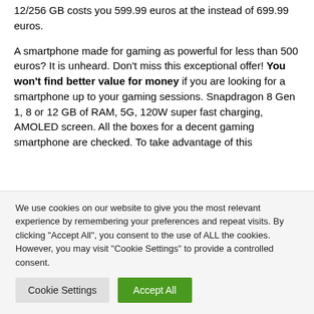12/256 GB costs you 599.99 euros at the instead of 699.99 euros.
A smartphone made for gaming as powerful for less than 500 euros? It is unheard. Don't miss this exceptional offer! You won't find better value for money if you are looking for a smartphone up to your gaming sessions. Snapdragon 8 Gen 1, 8 or 12 GB of RAM, 5G, 120W super fast charging, AMOLED screen. All the boxes for a decent gaming smartphone are checked. To take advantage of this
We use cookies on our website to give you the most relevant experience by remembering your preferences and repeat visits. By clicking "Accept All", you consent to the use of ALL the cookies. However, you may visit "Cookie Settings" to provide a controlled consent.